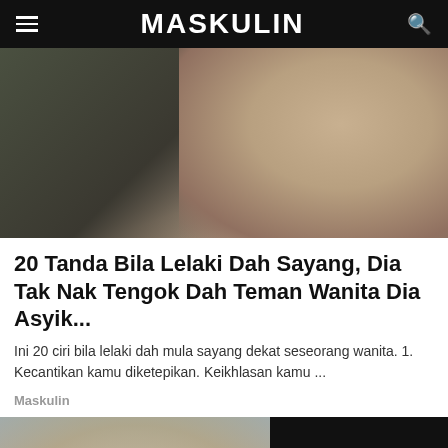MASKULIN
[Figure (photo): A couple in close proximity, about to kiss. Man in dark shirt, woman with long dark hair, outdoors with blurred background.]
20 Tanda Bila Lelaki Dah Sayang, Dia Tak Nak Tengok Dah Teman Wanita Dia Asyik...
Ini 20 ciri bila lelaki dah mula sayang dekat seseorang wanita. 1. Kecantikan kamu diketepikan. Keikhlasan kamu ...
Maskulin
[Figure (photo): A blonde woman facing the camera, portrait style, on a grey background. Partially obscured by a black panel on the right side with a forward navigation arrow.]